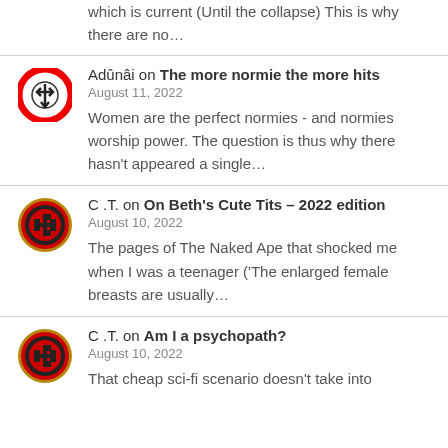which is current (Until the collapse)  This is why there are no…
Adûnâi on The more normie the more hits
August 11, 2022
Women are the perfect normies - and normies worship power. The question is thus why there hasn't appeared a single…
C .T. on On Beth's Cute Tits – 2022 edition
August 10, 2022
The pages of The Naked Ape that shocked me when I was a teenager ('The enlarged female breasts are usually…
C .T. on Am I a psychopath?
August 10, 2022
That cheap sci-fi scenario doesn't take into